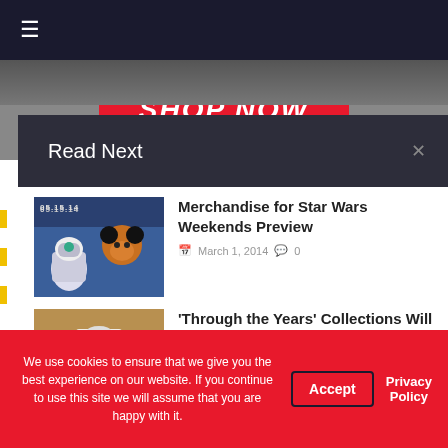☰
[Figure (other): SHOP NOW red button banner]
Read Next
[Figure (photo): Star Wars Weekends merchandise image with R2-D2 and Mickey Mouse in X-Wing pilot costume, date 05.15.14]
Merchandise for Star Wars Weekends Preview
March 1, 2014  0
[Figure (photo): Through the Years Collections merchandise photo with t-shirt and framed prints]
'Through the Years' Collections Will Celebrate Key Milestones
We use cookies to ensure that we give you the best experience on our website. If you continue to use this site we will assume that you are happy with it.
Accept
Privacy Policy